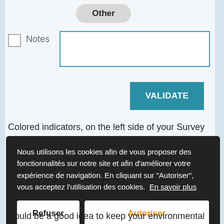Other
Notes
VALIDATE
Colored indicators, on the left side of your Survey screen, help you to keep your environmental data
Nous utilisons les cookies afin de vous proposer des fonctionnalités sur notre site et afin d'améliorer votre expérience de navigation. En cliquant sur "Autoriser", vous acceptez l'utilisation des cookies. En savoir plus
Refuser
Autoriser
would be a good idea to keep your environmental